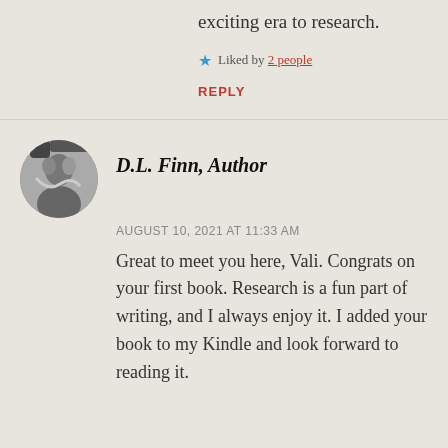exciting era to research.
Liked by 2 people
REPLY
D.L. Finn, Author
AUGUST 10, 2021 AT 11:33 AM
Great to meet you here, Vali. Congrats on your first book. Research is a fun part of writing, and I always enjoy it. I added your book to my Kindle and look forward to reading it.